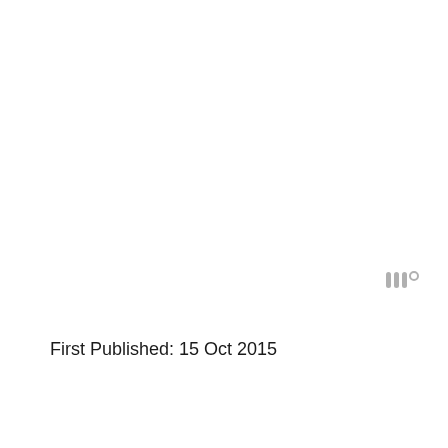[Figure (logo): Small gray logo consisting of three vertical bars with a small circle/degree symbol to the right, resembling a minimalist 'm°' mark in light gray]
First Published: 15 Oct 2015